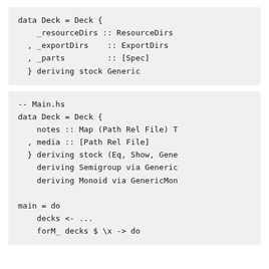[Figure (other): Code block showing Haskell data type definition: data Deck = Deck { _resourceDirs :: ResourceDirs, _exportDirs :: ExportDirs, _parts :: [Spec] } deriving stock Generic]
[Figure (other): Code block showing Haskell Main.hs with data Deck definition including notes and media fields, deriving clauses, and main = do block with decks and forM_ usage]